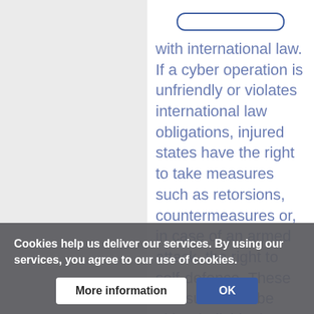with international law. If a cyber operation is unfriendly or violates international law obligations, injured states have the right to take measures such as retorsions, countermeasures or, in case of an armed attack, the right to self-defence. These measures can be either individual or collective. The main aim of reactive measures in response to a malicious cyber operation is the responsible state
Cookies help us deliver our services. By using our services, you agree to our use of cookies.